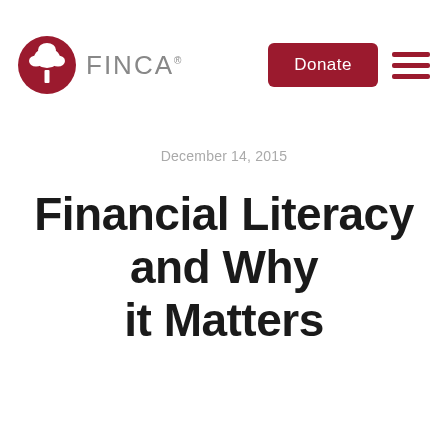FINCA — Donate
December 14, 2015
Financial Literacy and Why it Matters